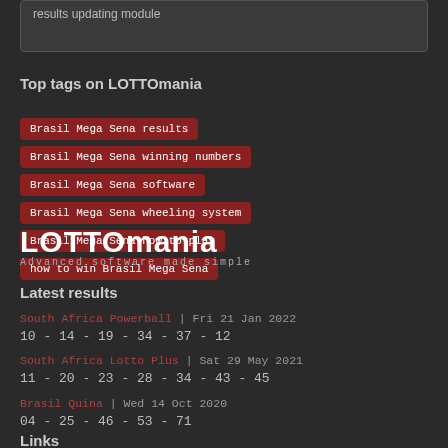results updating module
Top tags on LOTTOmania
Brasil Mega Sena results
Brasil Mega Sena winning numbers
Brasil Mega Sena software
Brasil Mega Sena wheeling system
Brasil Mega Sena how to play
how to win Brasil Mega Sena
[Figure (logo): LOTTOmania logo with tagline 'Advanced software made simple']
Latest results
South Africa Powerball | Fri 21 Jan 2022
10 - 14 - 19 - 34 - 37 - 12
South Africa Lotto Plus | Sat 29 May 2021
11 - 20 - 23 - 28 - 34 - 43 - 45
Brasil Quina | Wed 14 Oct 2020
04 - 25 - 46 - 53 - 71
Links